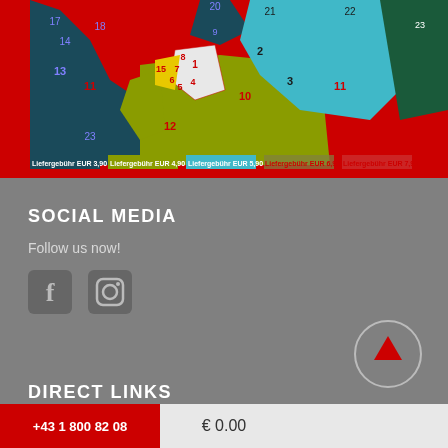[Figure (map): Delivery zone map of Vienna districts numbered 1-23, colored by delivery fee zones: EUR 3.90 (dark teal), EUR 4.90 (olive/yellow-green), EUR 5.90 (light blue/cyan), EUR 6.90 (dark green), EUR 7.90 (red). Legend at bottom shows fee bands.]
SOCIAL MEDIA
Follow us now!
[Figure (illustration): Facebook and Instagram social media icons in grey/white]
[Figure (illustration): Back to top button - circle with upward arrow in red]
DIRECT LINKS
€ 0.00
+43 1 800 82 08